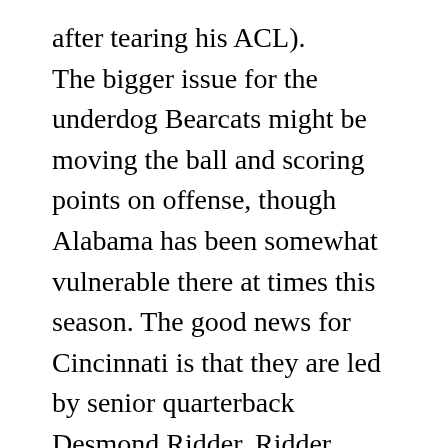after tearing his ACL).
The bigger issue for the underdog Bearcats might be moving the ball and scoring points on offense, though Alabama has been somewhat vulnerable there at times this season. The good news for Cincinnati is that they are led by senior quarterback Desmond Ridder. Ridder hasn't faced a team like Alabama, but his tremendous experience should be a major benefit in what'll be a tough situation. On the other side, the Crimson Tide offense is led by Heisman Trophy winner Bryce Young, who is somewhat of a magician at quarterback. One